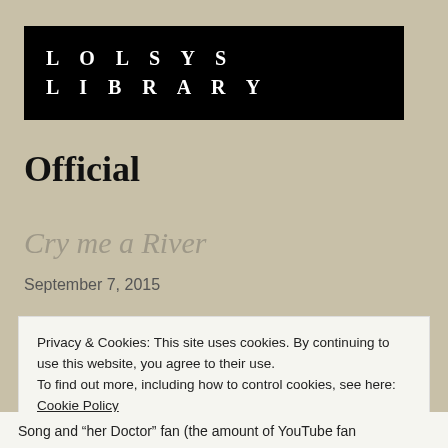LOLSYS
LIBRARY
Official
Cry me a River
September 7, 2015
Privacy & Cookies: This site uses cookies. By continuing to use this website, you agree to their use.
To find out more, including how to control cookies, see here: Cookie Policy
Close and accept
Song and “her Doctor” fan (the amount of YouTube fan